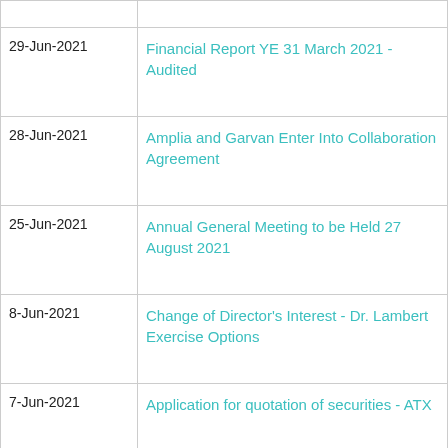| Date | Title |
| --- | --- |
|  |  |
| 29-Jun-2021 | Financial Report YE 31 March 2021 - Audited |
| 28-Jun-2021 | Amplia and Garvan Enter Into Collaboration Agreement |
| 25-Jun-2021 | Annual General Meeting to be Held 27 August 2021 |
| 8-Jun-2021 | Change of Director's Interest - Dr. Lambert Exercise Options |
| 7-Jun-2021 | Application for quotation of securities - ATX |